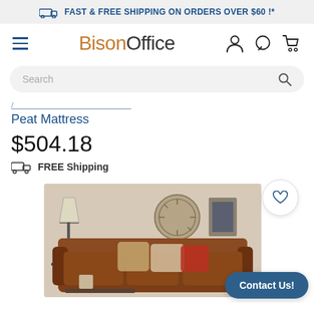FAST & FREE SHIPPING ON ORDERS OVER $60 !*
[Figure (logo): BisonOffice logo with hamburger menu and nav icons (account, chat, cart)]
Search
Peat Mattress
$504.18
FREE Shipping
[Figure (photo): Brown leather sofa with decorative pillows, lamp and clock in background]
Contact Us!